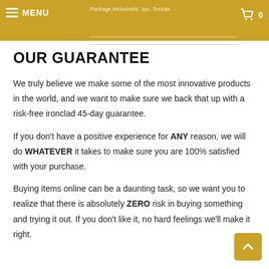MENU  |  Package Inclusion/s: 1pc. Snorax  |  0
OUR GUARANTEE
We truly believe we make some of the most innovative products in the world, and we want to make sure we back that up with a risk-free ironclad 45-day guarantee.
If you don't have a positive experience for ANY reason, we will do WHATEVER it takes to make sure you are 100% satisfied with your purchase.
Buying items online can be a daunting task, so we want you to realize that there is absolutely ZERO risk in buying something and trying it out. If you don't like it, no hard feelings we'll make it right.